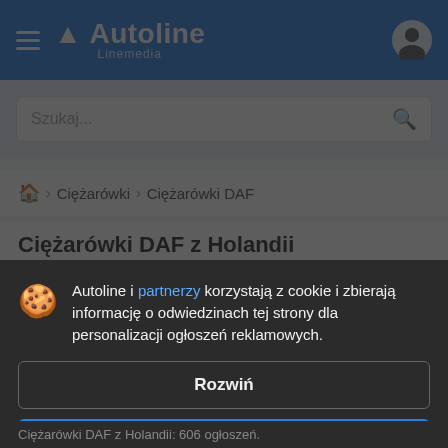Autoline Linemedia
Szukaj...
🏠 > Ciężarówki > Ciężarówki DAF
Ciężarówki DAF z Holandii
Autoline i partnerzy korzystają z cookie i zbierają informację o odwiedzinach tej strony dla personalizacji ogłoszeń reklamowych.
Rozwiń
Zgoda i zamknąć
Ciężarówki DAF z Holandii: 606 ogłoszeń.